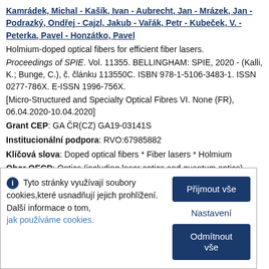Kamrádek, Michal - Kašík, Ivan - Aubrecht, Jan - Mrázek, Jan - Podrazký, Ondřej - Cajzl, Jakub - Vařák, Petr - Kubeček, V. - Peterka, Pavel - Honzátko, Pavel
Holmium-doped optical fibers for efficient fiber lasers.
Proceedings of SPIE. Vol. 11355. BELLINGHAM: SPIE, 2020 - (Kalli, K.; Bunge, C.), č. článku 113550C. ISBN 978-1-5106-3483-1. ISSN 0277-786X. E-ISSN 1996-756X.
[Micro-Structured and Specialty Optical Fibres VI. None (FR), 06.04.2020-10.04.2020]
Grant CEP: GA ČR(CZ) GA19-03141S
Institucionální podpora: RVO:67985882
Klíčová slova: Doped optical fibers * Fiber lasers * Holmium
Obor OECD: Optics (including laser optics and quantum optics)
Tyto stránky využívají soubory cookies,které usnadňují jejich prohlížení. Další informace o tom, jak používáme cookies.